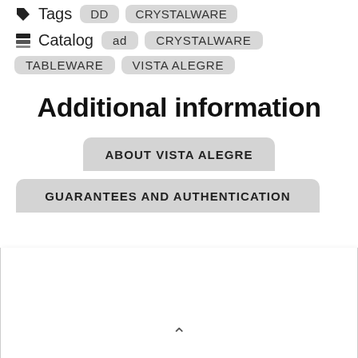Tags  DD  CRYSTALWARE
Catalog  ad  CRYSTALWARE  TABLEWARE  VISTA ALEGRE
Additional information
ABOUT VISTA ALEGRE
GUARANTEES AND AUTHENTICATION